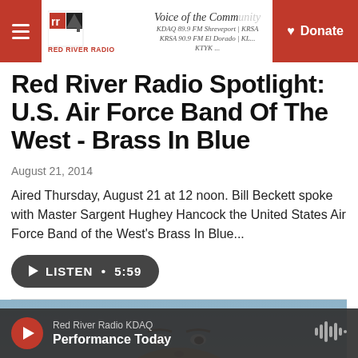Red River Radio | Voice of the Community | KDAQ 89.9 FM Shreveport | KRSA 90.9 FM El Dorado | Donate
Red River Radio Spotlight: U.S. Air Force Band Of The West - Brass In Blue
August 21, 2014
Aired Thursday, August 21 at 12 noon. Bill Beckett spoke with Master Sargent Hughey Hancock the United States Air Force Band of the West's Brass In Blue...
[Figure (other): Listen button with play icon, duration 5:59]
[Figure (photo): Close-up photo of a person's face]
Red River Radio KDAQ | Performance Today